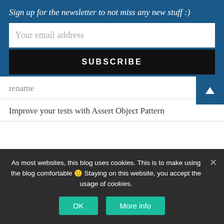Sign up for the newsletter to not miss any new stuff :)
Your email address
SUBSCRIBE
rename
Improve your tests with Assert Object Pattern
As most websites, this blog uses cookies. This is to make using the blog comfortable 🙂 Staying on this website, you accept the usage of cookies.
OK
More info